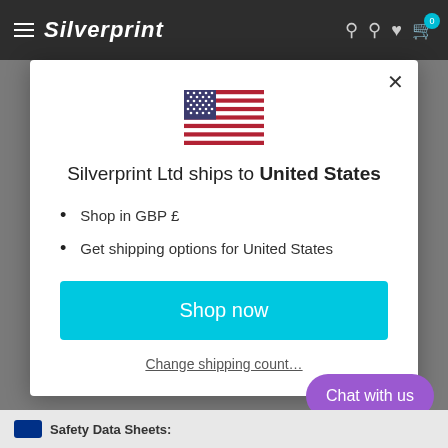Silverprint
[Figure (illustration): US flag emoji/icon displayed at center of modal]
Silverprint Ltd ships to United States
Shop in GBP £
Get shipping options for United States
Shop now
Change shipping country
Chat with us
Safety Data Sheets: